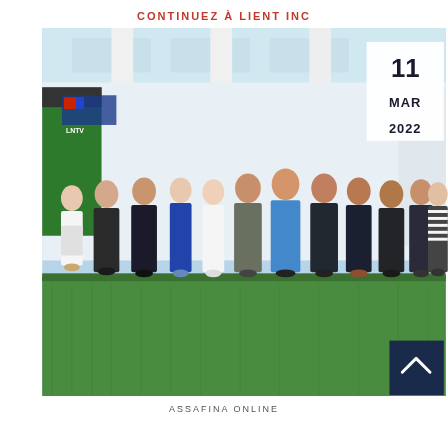CONTINUEZ À LIENT INC
[Figure (photo): Group photo of approximately 12 professionals standing in a row indoors at what appears to be a trade show or exhibition booth with white architectural elements and green grass floor covering. A date overlay reads 11 MAR 2022 in the upper right corner of the image. A dark navy blue navigation button with an upward chevron arrow appears at the bottom right corner.]
ASSAFINA ONLINE